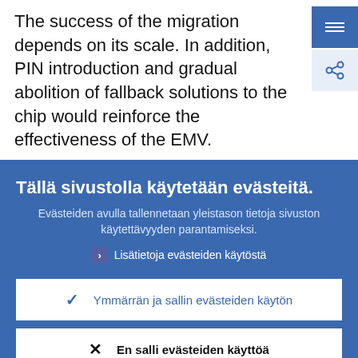The success of the migration depends on its scale. In addition, PIN introduction and gradual abolition of fallback solutions to the chip would reinforce the effectiveness of the EMV.
Tällä sivustolla käytetään evästeitä.
Evästeiden avulla tallennetaan yleistason tietoja sivuston käytettävyyden parantamiseksi.
Lisätietoja evästeiden käytöstä
Ymmärrän ja sallin evästeiden käytön
En salli evästeiden käyttöä